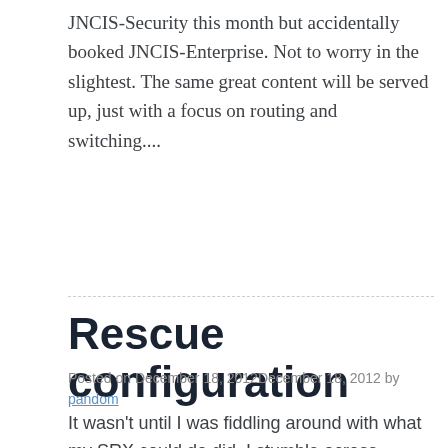JNCIS-Security this month but accidentally booked JNCIS-Enterprise. Not to worry in the slightest. The same great content will be served up, just with a focus on routing and switching....
Rescue configuration
Posted on December 18, 2012December 18, 2012 by pandom
It wasn’t until I was fiddling around with what my SRX could do did  I stumble across something that intrigued me. I was trying to figure out why my Alarm light was being displayed at the front of the